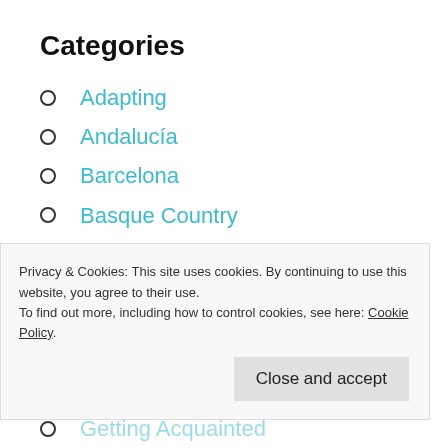Categories
Adapting
Andalucía
Barcelona
Basque Country
Bureaucracy
Burriana
Castellón
Central Spain
Privacy & Cookies: This site uses cookies. By continuing to use this website, you agree to their use.
To find out more, including how to control cookies, see here: Cookie Policy
Close and accept
Getting Acquainted